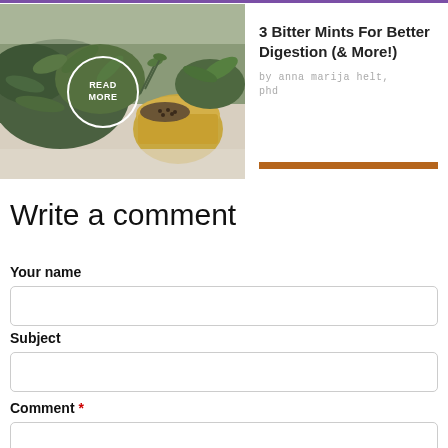[Figure (photo): Photo of bitter mint herbs with leaves and a basket of seeds, with a circular 'READ MORE' overlay in white]
3 Bitter Mints For Better Digestion (& More!) by anna marija helt, phd
Write a comment
Your name
Subject
Comment *